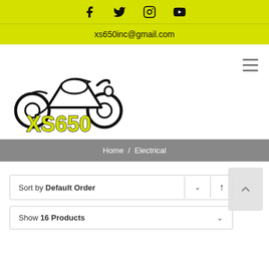Social icons: Facebook, Twitter, Instagram, YouTube
xs650inc@gmail.com
[Figure (logo): XS650 motorcycle logo with cartoon motorcycle outline and bold yellow XS650 text]
Home / Electrical
Sort by Default Order
Show 16 Products